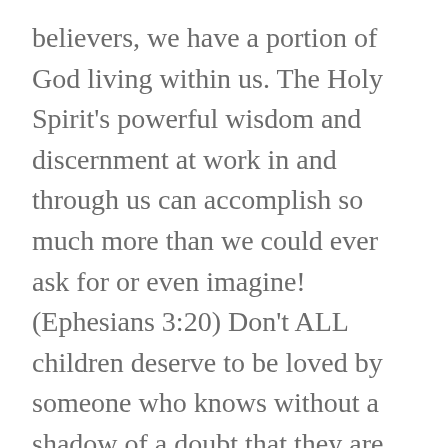believers, we have a portion of God living within us. The Holy Spirit's powerful wisdom and discernment at work in and through us can accomplish so much more than we could ever ask for or even imagine! (Ephesians 3:20) Don't ALL children deserve to be loved by someone who knows without a shadow of a doubt that they are loved by God and filled with His power?
Don't get me wrong. There is nothing easy about being a parent, grandparent, or mentor. No matter how we love them, children still throw fits, stomp their feet, and insist on their own way. But training up a child might not be